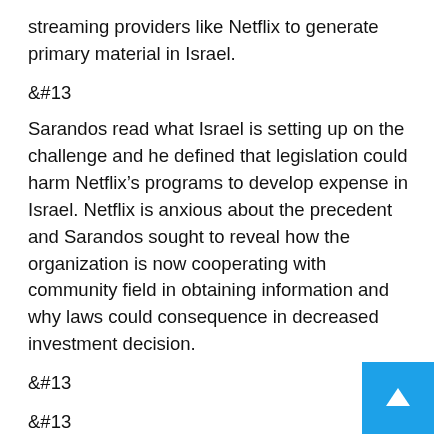streaming providers like Netflix to generate primary material in Israel.
&#13;
Sarandos read what Israel is setting up on the challenge and he defined that legislation could harm Netflix’s programs to develop expense in Israel. Netflix is anxious about the precedent and Sarandos sought to reveal how the organization is now cooperating with community field in obtaining information and why laws could consequence in decreased investment decision.
&#13;
&#13;
&#13;
&#13;